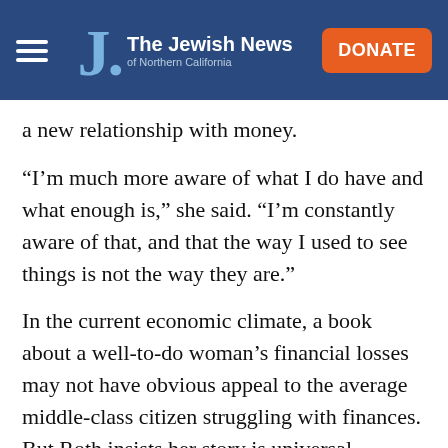The Jewish News of Northern California
a new relationship with money.
“I’m much more aware of what I do have and what enough is,” she said. “I’m constantly aware of that, and that the way I used to see things is not the way they are.”
In the current economic climate, a book about a well-to-do woman’s financial losses may not have obvious appeal to the average middle-class citizen struggling with finances. But Roth insists her story is universal.
“I don’t think this book is about wealth,” she said. “It’s about loss, anyone who’s had any loss at all –